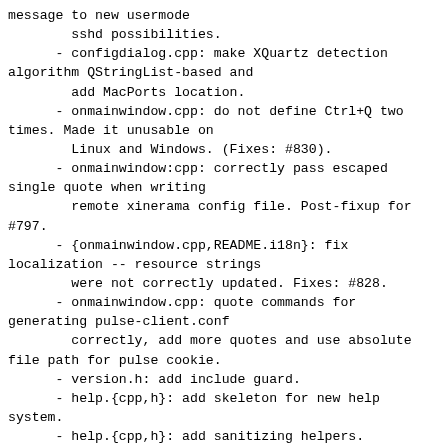message to new usermode
        sshd possibilities.
      - configdialog.cpp: make XQuartz detection algorithm QStringList-based and
        add MacPorts location.
      - onmainwindow.cpp: do not define Ctrl+Q two times. Made it unusable on
        Linux and Windows. (Fixes: #830).
      - onmainwindow:cpp: correctly pass escaped single quote when writing
        remote xinerama config file. Post-fixup for #797.
      - {onmainwindow.cpp,README.i18n}: fix localization -- resource strings
        were not correctly updated. Fixes: #828.
      - onmainwindow.cpp: quote commands for generating pulse-client.conf
        correctly, add more quotes and use absolute file path for pulse cookie.
      - version.h: add include guard.
      - help.{cpp,h}: add skeleton for new help system.
      - help.{cpp,h}: add sanitizing helpers.
      - help.cpp: populate pretty_print: fetch max length of params